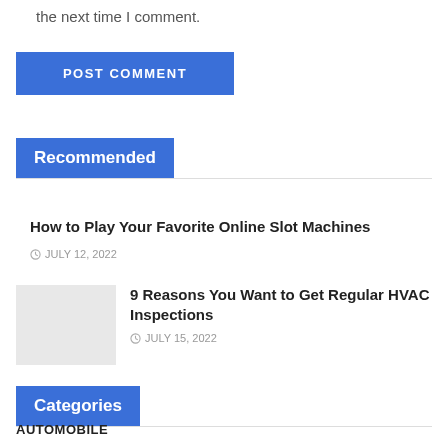the next time I comment.
POST COMMENT
Recommended
How to Play Your Favorite Online Slot Machines
JULY 12, 2022
[Figure (photo): Thumbnail image placeholder (light gray rectangle)]
9 Reasons You Want to Get Regular HVAC Inspections
JULY 15, 2022
Categories
AUTOMOBILE